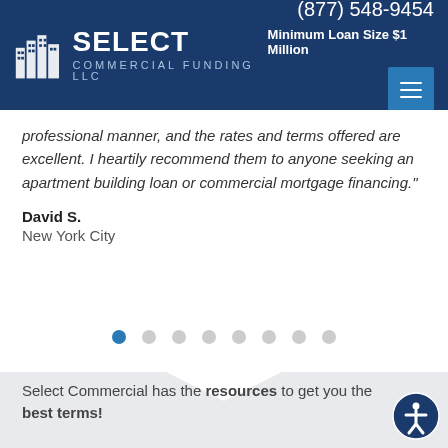(877) 548-9454 | Minimum Loan Size $1 Million | Select Commercial Funding LLC
professional manner, and the rates and terms offered are excellent. I heartily recommend them to anyone seeking an apartment building loan or commercial mortgage financing."
David S.
New York City
[Figure (other): Carousel navigation dots, 8 dots total, first dot is active/filled blue]
Select Commercial has the resources to get you the best terms!